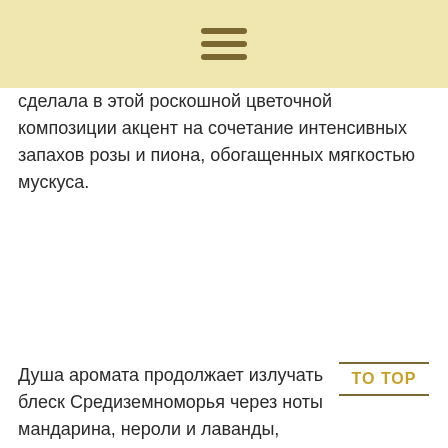сделала в этой роскошной цветочной композиции акцент на сочетание интенсивных запахов розы и пиона, обогащенных мягкостью мускуса.
Душа аромата продолжает излучать блеск Средиземноморья через ноты мандарина, нероли и лаванды, основу и характерный землистый оттенок парфюму создают